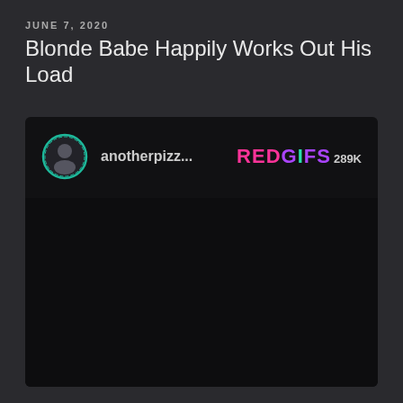JUNE 7, 2020
Blonde Babe Happily Works Out His Load
[Figure (screenshot): Dark media player card from REDGIFS showing user profile 'anotherpizz...' with avatar circle and REDGIFS logo with 289K view count. The main media area is a black/dark rectangle (video not loaded).]